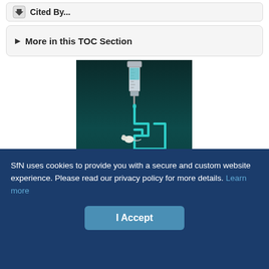Cited By...
More in this TOC Section
[Figure (illustration): Medical/neuroscience advertisement showing a syringe connected by tubing to a maze-like path with a mouse, with text 'ESCAPE FROM YOUR' at the bottom. Teal/dark teal background.]
SfN uses cookies to provide you with a secure and custom website experience. Please read our privacy policy for more details. Learn more
I Accept